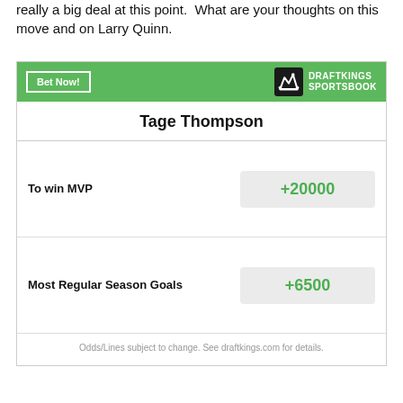really a big deal at this point. What are your thoughts on this move and on Larry Quinn.
[Figure (infographic): DraftKings Sportsbook widget showing Tage Thompson betting odds: To win MVP +20000, Most Regular Season Goals +6500]
Odds/Lines subject to change. See draftkings.com for details.